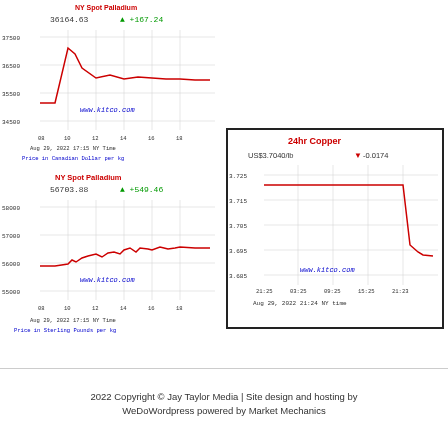[Figure (continuous-plot): NY Spot Palladium chart in Canadian Dollar per kg. Value: 36164.63, +167.24. Time axis 08-18, Aug 29, 2022 17:15 NY Time. Line starts ~36000, spikes to ~36900, then settles ~36300-36400. Shows www.kitco.com watermark.]
[Figure (continuous-plot): NY Spot Palladium chart in Sterling Pounds per kg. Value: 56703.88, +549.46. Time axis 08-18, Aug 29, 2022 17:15 NY Time. Line shows gradual upward trend from ~56000 to ~56900. Shows www.kitco.com watermark.]
[Figure (continuous-plot): 24hr Copper chart. US$3.7040/lb, -0.0174. Time axis 21:25 to 21:23, Aug 29, 2022 21:24 NY time. Line flat ~3.720 then sharp drop to ~3.695. Shows www.kitco.com watermark.]
2022 Copyright © Jay Taylor Media | Site design and hosting by WeDoWordpress powered by Market Mechanics